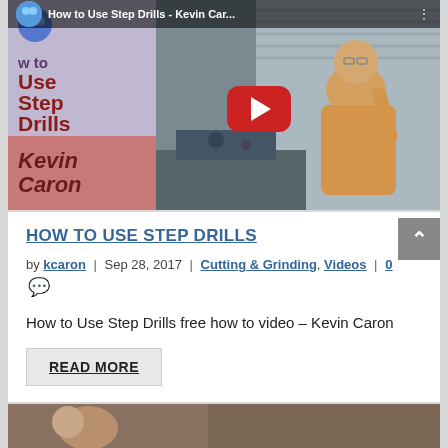[Figure (screenshot): YouTube video thumbnail for 'How to Use Step Drills - Kevin Car...' showing a man in a workshop with machinery. Left panel has purple/lavender background with dark red bold text 'How to Use Step Drills' and a pink/salmon panel with italic dark red 'Kevin Caron'. A red YouTube play button overlay is visible in the center.]
HOW TO USE STEP DRILLS
by kcaron | Sep 28, 2017 | Cutting & Grinding, Videos | 0
How to Use Step Drills free how to video – Kevin Caron
READ MORE
[Figure (photo): Partial bottom thumbnail strip showing the beginning of another post image]